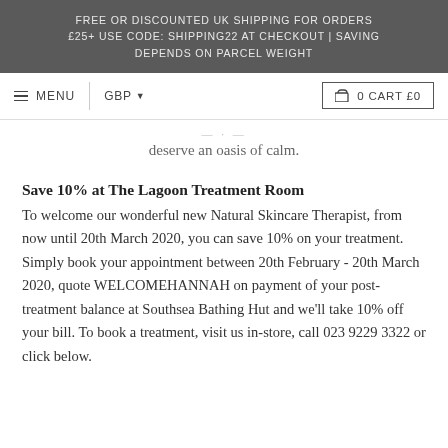FREE OR DISCOUNTED UK SHIPPING FOR ORDERS £25+ USE CODE: SHIPPING22 AT CHECKOUT | SAVING DEPENDS ON PARCEL WEIGHT
MENU  GBP  0 CART £0
deserve an oasis of calm.
Save 10% at The Lagoon Treatment Room
To welcome our wonderful new Natural Skincare Therapist, from now until 20th March 2020, you can save 10% on your treatment. Simply book your appointment between 20th February - 20th March 2020, quote WELCOMEHANNAH on payment of your post-treatment balance at Southsea Bathing Hut and we'll take 10% off your bill. To book a treatment, visit us in-store, call 023 9229 3322 or click below.